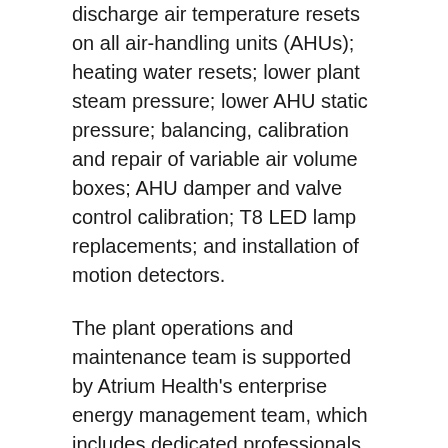discharge air temperature resets on all air-handling units (AHUs); heating water resets; lower plant steam pressure; lower AHU static pressure; balancing, calibration and repair of variable air volume boxes; AHU damper and valve control calibration; T8 LED lamp replacements; and installation of motion detectors.
The plant operations and maintenance team is supported by Atrium Health's enterprise energy management team, which includes dedicated professionals specializing in building automation controls and energy monitoring. Joe Ross, director and senior service line leader at Atrium Health, says that the renewed focus on energy reduction was a way to put into action the energy-savings lessons learned from other facilities in the system. But, as Atrium Health Cleveland embarked on its journey, he also saw a chance to use new and creative approaches tailored to the facility that had the potential to yield